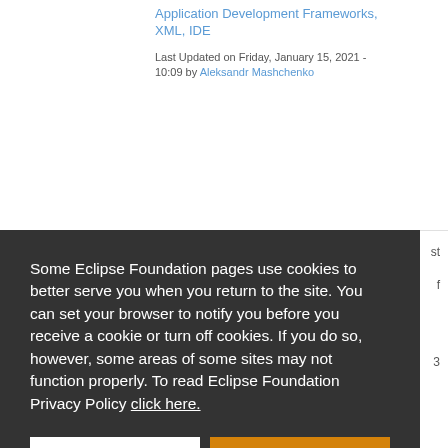Application Development Frameworks, XML, IDE
Last Updated on Friday, January 15, 2021 - 10:09 by Aleksandr Mashchenko
Some Eclipse Foundation pages use cookies to better serve you when you return to the site. You can set your browser to notify you before you receive a cookie or turn off cookies. If you do so, however, some areas of some sites may not function properly. To read Eclipse Foundation Privacy Policy click here.
Decline
Allow cookies